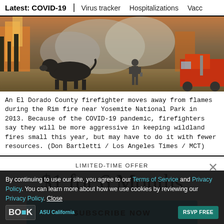Latest: COVID-19 | Virus tracker | Hospitalizations | Vacci
[Figure (photo): A wildfire scene with a black cow in the foreground, a firefighter walking away from flames, smoke, and a red fire truck on the right. An El Dorado County wildfire, the Rim fire near Yosemite National Park.]
An El Dorado County firefighter moves away from flames during the Rim fire near Yosemite National Park in 2013. Because of the COVID-19 pandemic, firefighters say they will be more aggressive in keeping wildland fires small this year, but may have to do it with fewer resources. (Don Bartletti / Los Angeles Times / MCT)
LIMITED-TIME OFFER
$1 for 6 Months
SUBSCRIBE NOW
By continuing to use our site, you agree to our Terms of Service and Privacy Policy. You can learn more about how we use cookies by reviewing our Privacy Policy. Close